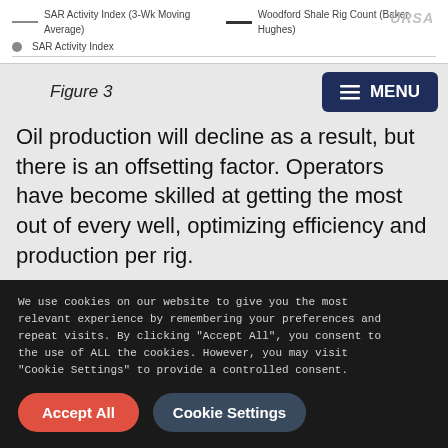[Figure (other): Chart legend bar at top showing: SAR Activity Index (3-Wk Moving Average) as thin dashed line, Woodford Shale Rig Count (Baker Hughes) as thick solid line, SAR Activity Index as dotted line. URSA logo at top right.]
Figure 3
Oil production will decline as a result, but there is an offsetting factor. Operators have become skilled at getting the most out of every well, optimizing efficiency and production per rig.
Figure 4 shows the improvements in drilling productivity in the Anadarko Basin, home to the Woodford Shale.
We use cookies on our website to give you the most relevant experience by remembering your preferences and repeat visits. By clicking "Accept All", you consent to the use of ALL the cookies. However, you may visit "Cookie Settings" to provide a controlled consent.
Accept All
Cookie Settings